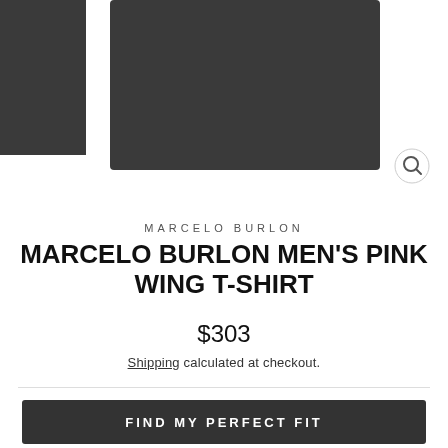[Figure (photo): Product photo showing a dark/black Marcelo Burlon Wing T-shirt. Left side shows a small thumbnail of folded shirt. Main center image shows the shirt front against dark background. A magnifying glass icon appears bottom-right of the main image.]
MARCELO BURLON
MARCELO BURLON MEN'S PINK WING T-SHIRT
$303
Shipping calculated at checkout.
FIND MY PERFECT FIT